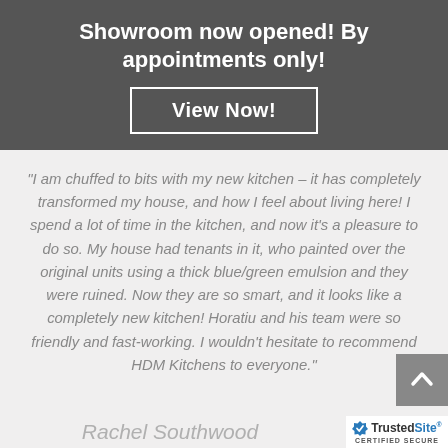Showroom now opened! By appointments only!
View Now!
"I am chuffed to bits with my new kitchen – it has completely transformed my house, and how I feel about living here! I spend a lot of time in the kitchen, and now it's a pleasure to do so. My house had tenants in it, who painted over the original units using a thick blue/green emulsion and they were ruined. Now they are so smart, and it looks like a completely new kitchen! Horatiu and his team were so friendly and fast-working. I wouldn't hesitate to recommend HDM Kitchens to everyone."
Rachel Southwood